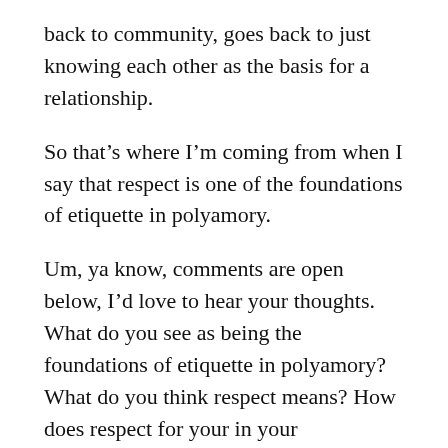back to community, goes back to just knowing each other as the basis for a relationship.
So that’s where I’m coming from when I say that respect is one of the foundations of etiquette in polyamory.
Um, ya know, comments are open below, I’d love to hear your thoughts. What do you see as being the foundations of etiquette in polyamory? What do you think respect means? How does respect for your in your relationships? I’d love to hear from you and if you’re interested in getting more audio posts like this, in my getting a vlog or podcast going, please check out the patreon page, link is down